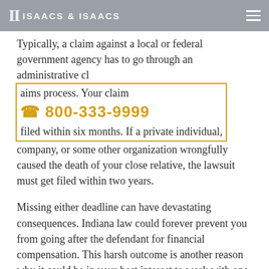ISAACS & ISAACS
Typically, a claim against a local or federal government agency has to go through an administrative claims process. Your claim must get filed within six months. If a private individual, company, or some other organization wrongfully caused the death of your close relative, the lawsuit must get filed within two years.
Missing either deadline can have devastating consequences. Indiana law could forever prevent you from going after the defendant for financial compensation. This harsh outcome is another reason why it could be in your best interest to work with one of our lawyers on your case. We worry about the procedural issues like deadlines so that you do not have to.